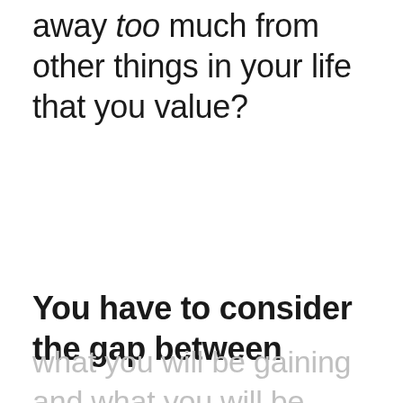away too much from other things in your life that you value?
You have to consider the gap between
what you will be gaining and what you will be losing and analyze if that gap is